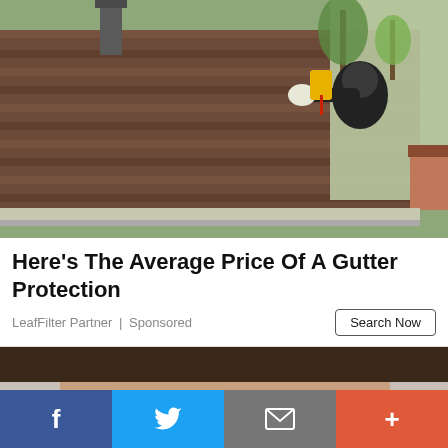[Figure (photo): A worker in a black hoodie on a ladder, using a power drill to install gutter protection on the edge of a residential roof. The roof has dark brown shingles and trees are visible in the background.]
Here's The Average Price Of A Gutter Protection
LeafFilter Partner | Sponsored
[Figure (photo): Partial view of a person's face from the top, with dark hair, appearing cropped at the bottom of the frame.]
[Figure (infographic): Social sharing bar with four buttons: Facebook (blue), Twitter (light blue), Email (gray), and a plus/more button (orange-red).]